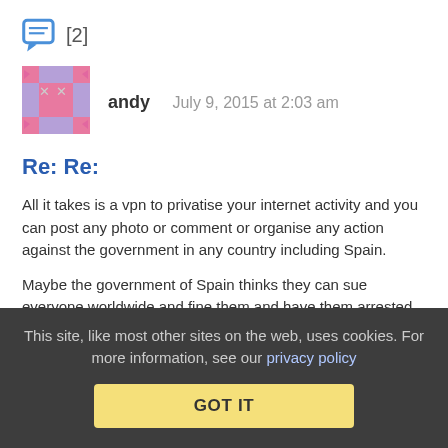[Figure (illustration): Comment icon with [2] label]
[Figure (illustration): User avatar pixel art pattern for user 'andy']
andy   July 9, 2015 at 2:03 am
Re: Re:
All it takes is a vpn to privatise your internet activity and you can post any photo or comment or organise any action against the government in any country including Spain.
Maybe the government of Spain thinks they can sue everyone worldwide and fine them and have them arrested for disagreeing with the government, so be it i am one that you need to catch and i don't live in Spain , just as millions upon millions will post whatever they want in Spanish websites , if they know the language that is.
This site, like most other sites on the web, uses cookies. For more information, see our privacy policy  GOT IT